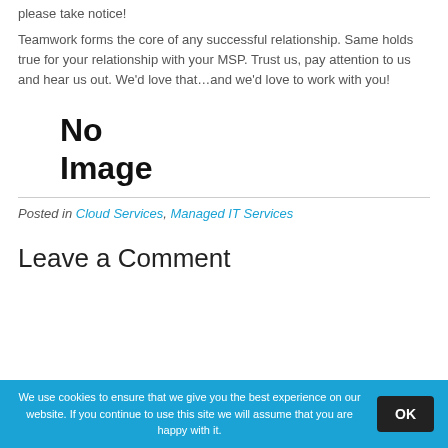please take notice!
Teamwork forms the core of any successful relationship. Same holds true for your relationship with your MSP. Trust us, pay attention to us and hear us out. We'd love that…and we'd love to work with you!
[Figure (other): No Image placeholder text in bold black]
Posted in Cloud Services, Managed IT Services
Leave a Comment
We use cookies to ensure that we give you the best experience on our website. If you continue to use this site we will assume that you are happy with it.